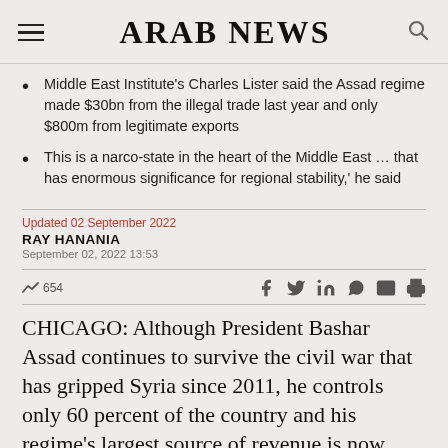ARAB NEWS
Middle East Institute's Charles Lister said the Assad regime made $30bn from the illegal trade last year and only $800m from legitimate exports
This is a narco-state in the heart of the Middle East … that has enormous significance for regional stability,' he said
Updated 02 September 2022
RAY HANANIA
September 02, 2022 13:53
654
CHICAGO: Although President Bashar Assad continues to survive the civil war that has gripped Syria since 2011, he controls only 60 percent of the country and his regime's largest source of revenue is now drug trafficking,